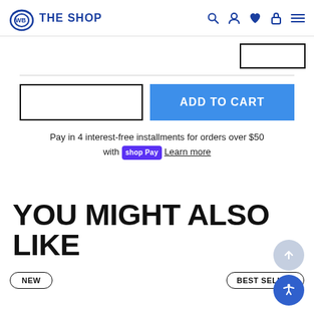WB THE SHOP
[Figure (screenshot): Partially visible button at top right]
ADD TO CART (button with quantity box)
Pay in 4 interest-free installments for orders over $50 with Shop Pay. Learn more
YOU MIGHT ALSO LIKE
NEW badge and BEST SELLER badge